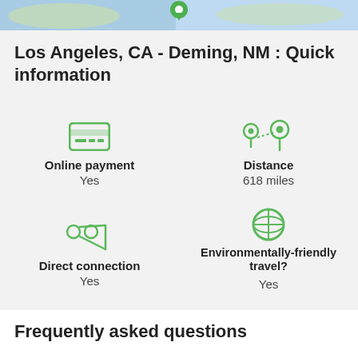[Figure (map): Partial map strip showing geographic background with blue water/land areas and a green location pin visible at top center]
Los Angeles, CA - Deming, NM : Quick information
[Figure (infographic): 2x2 grid of quick info icons: Online payment (credit card icon, Yes), Distance (map pins icon, 618 miles), Direct connection (scissors/route icon, Yes), Environmentally-friendly travel? (globe icon, Yes)]
Frequently asked questions